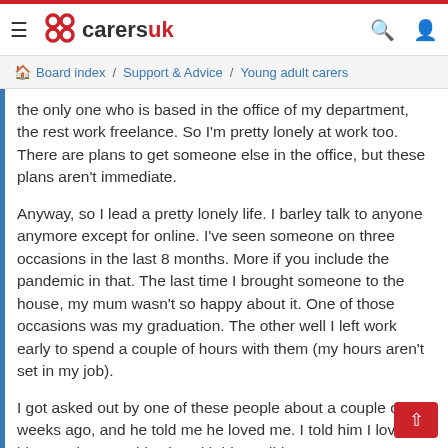CarersUK — Board index / Support & Advice / Young adult carers
the only one who is based in the office of my department, the rest work freelance. So I'm pretty lonely at work too. There are plans to get someone else in the office, but these plans aren't immediate.
Anyway, so I lead a pretty lonely life. I barley talk to anyone anymore except for online. I've seen someone on three occasions in the last 8 months. More if you include the pandemic in that. The last time I brought someone to the house, my mum wasn't so happy about it. One of those occasions was my graduation. The other well I left work early to spend a couple of hours with them (my hours aren't set in my job).
I got asked out by one of these people about a couple of weeks ago, and he told me he loved me. I told him I loved him too, but I couldn't be with him. I didn't want my mum to hurt him and crush his spirit, he deserves a partner who can